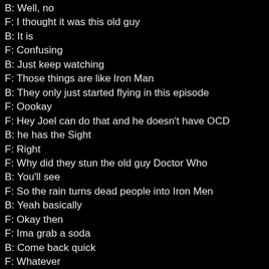B: Well, no
F: I thought it was this old guy
B: It is
F: Confusing
B: Just keep watching
F: Those things are like Iron Man
B: They only just started flying in this episode
F: Oookay
F: Hey Joel can do that and he doesn't have OCD
B: he has the Sight
F: Right
F: Why did they stun the old guy Doctor Who
B: You'll see
F: So the rain turns dead people into Iron Men
B: Yeah basically
F: Okay then
F: Ima grab a soda
B: Come back quick
F: Whatever
B: Hurry up commercials are over
F: I assume you understand what they're talking about here
B: Actually I had to look up a couple of the references